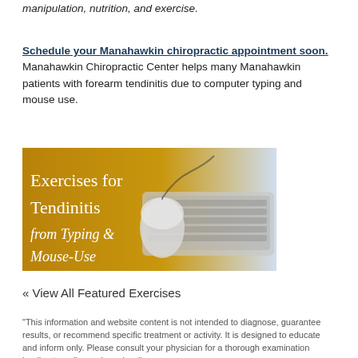manipulation, nutrition, and exercise.
Schedule your Manahawkin chiropractic appointment soon. Manahawkin Chiropractic Center helps many Manahawkin patients with forearm tendinitis due to computer typing and mouse use.
[Figure (illustration): Promotional image with gold-to-blue gradient background showing a keyboard and mouse, with white text reading 'Exercises for Tendinitis from Typing & Mouse-Use']
« View All Featured Exercises
"This information and website content is not intended to diagnose, guarantee results, or recommend specific treatment or activity. It is designed to educate and inform only. Please consult your physician for a thorough examination leading to a diagnosis and well-